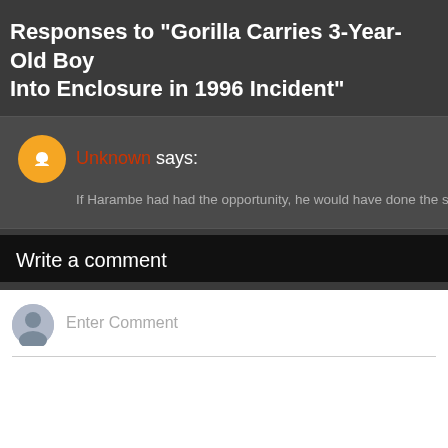Responses to "Gorilla Carries 3-Year-Old Boy Into Enclosure in 1996 Incident"
Unknown says: If Harambe had had the opportunity, he would have done the sa...
Write a comment
Enter Comment